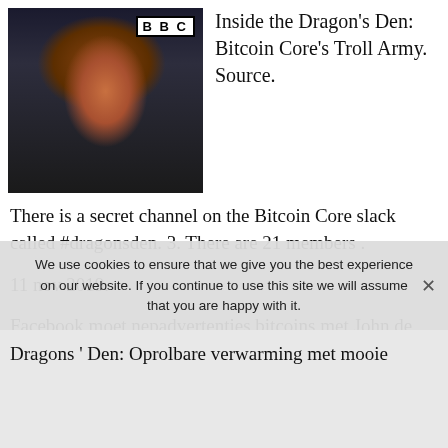[Figure (photo): BBC Dragon's Den screenshot showing a woman in red being interviewed, with BBC logo badge in top right of frame]
Inside the Dragon's Den: Bitcoin Core's Troll Army. Source.
There is a secret channel on the Bitcoin Core slack called #dragonsden. 3. There are 21 members .
11 nov 2019.
Facebook moet nepadvertenties bitcoins met John de Mol aanpakken.
We use cookies to ensure that we give you the best experience on our website. If you continue to use this site we will assume that you are happy with it.
Dragons ' Den: Oprolbare verwarming met mooie